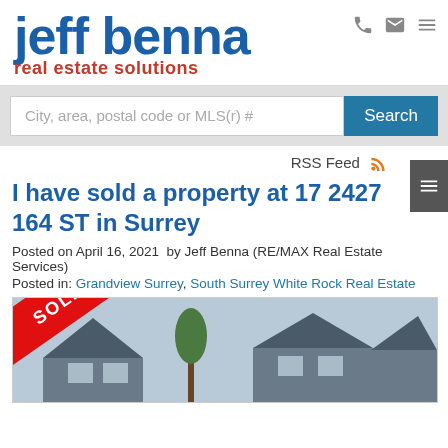[Figure (logo): Jeff Benna Real Estate Solutions logo - 'jeff benna' in large blue bold text, 'real estate solutions' in red below]
[Figure (screenshot): Search bar with placeholder 'City, area, postal code or MLS(r) #' and a blue Search button]
RSS Feed
I have sold a property at 17 2427 164 ST in Surrey
Posted on April 16, 2021  by Jeff Benna (RE/MAX Real Estate Services)
Posted in: Grandview Surrey, South Surrey White Rock Real Estate
[Figure (photo): Photo of townhomes with a red SOLD ribbon/banner overlay in the bottom-left corner, tree visible in background]